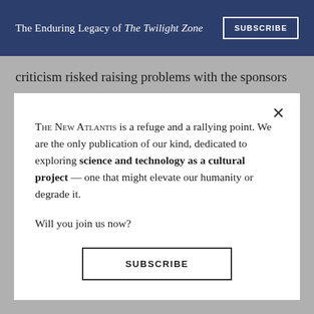The Enduring Legacy of The Twilight Zone
criticism risked raising problems with the sponsors
THE NEW ATLANTIS is a refuge and a rallying point. We are the only publication of our kind, dedicated to exploring science and technology as a cultural project — one that might elevate our humanity or degrade it.

Will you join us now?